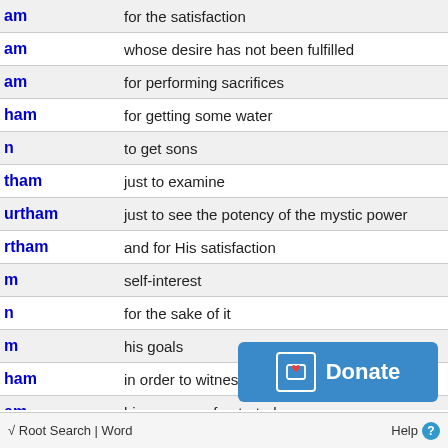| Term | Meaning |
| --- | --- |
| am | for the satisfaction |
| am | whose desire has not been fulfilled |
| am | for performing sacrifices |
| ham | for getting some water |
| n | to get sons |
| tham | just to examine |
| urtham | just to see the potency of the mystic power |
| rtham | and for His satisfaction |
| m | self-interest |
| n | for the sake of it |
| m | his goals |
| ham | in order to witness |
| am | his purposes frustrated |
| m | for this purpose |
√ Root Search | Word    Help